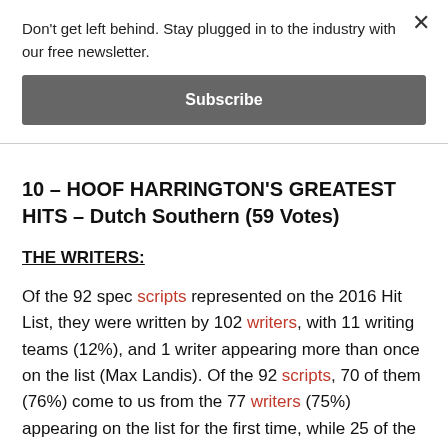Don't get left behind. Stay plugged in to the industry with our free newsletter.
Subscribe
10 – HOOF HARRINGTON'S GREATEST HITS – Dutch Southern (59 Votes)
THE WRITERS:
Of the 92 spec scripts represented on the 2016 Hit List, they were written by 102 writers, with 11 writing teams (12%), and 1 writer appearing more than once on the list (Max Landis). Of the 92 scripts, 70 of them (76%) come to us from the 77 writers (75%) appearing on the list for the first time, while 25 of the writers have